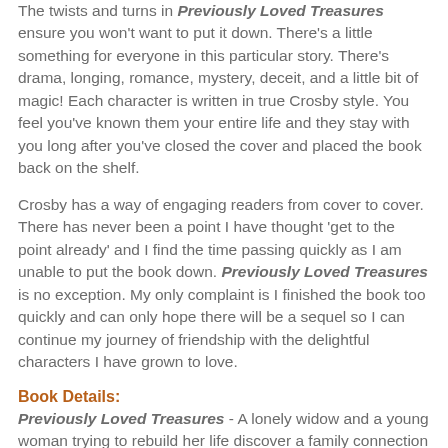The twists and turns in Previously Loved Treasures ensure you won't want to put it down. There's a little something for everyone in this particular story. There's drama, longing, romance, mystery, deceit, and a little bit of magic! Each character is written in true Crosby style. You feel you've known them your entire life and they stay with you long after you've closed the cover and placed the book back on the shelf.
Crosby has a way of engaging readers from cover to cover. There has never been a point I have thought 'get to the point already' and I find the time passing quickly as I am unable to put the book down. Previously Loved Treasures is no exception. My only complaint is I finished the book too quickly and can only hope there will be a sequel so I can continue my journey of friendship with the delightful characters I have grown to love.
Book Details:
Previously Loved Treasures - A lonely widow and a young woman trying to rebuild her life discover a family connection and a run-down second hand store where the clairvoyant